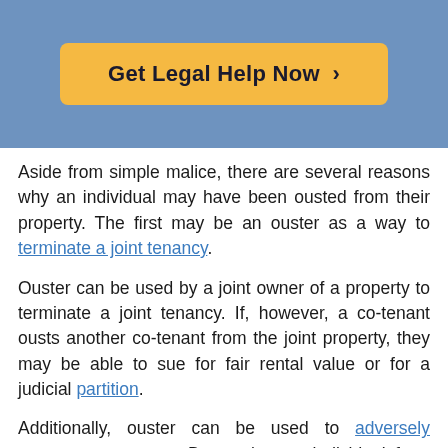[Figure (other): Call-to-action button with orange/yellow background reading 'Get Legal Help Now ›' on a blue banner background]
Aside from simple malice, there are several reasons why an individual may have been ousted from their property. The first may be an ouster as a way to terminate a joint tenancy.
Ouster can be used by a joint owner of a property to terminate a joint tenancy. If, however, a co-tenant ousts another co-tenant from the joint property, they may be able to sue for fair rental value or for a judicial partition.
Additionally, ouster can be used to adversely possess a property. By ousting an individual from their property, the ouster will attain exclusive, open, and hostile possession of the property.
If a property owner in California holds legal title to a